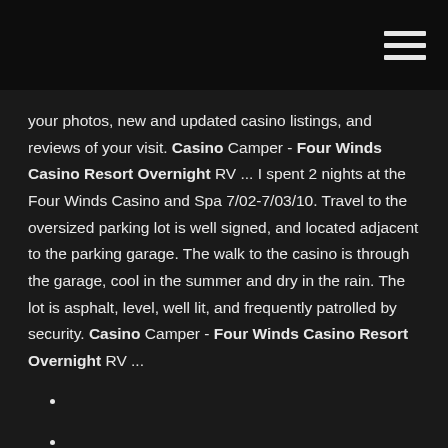[Figure (other): Top navigation bar with hamburger menu icon (three horizontal white lines) on dark background]
your photos, new and updated casino listings, and reviews of your visit. Casino Camper - Four Winds Casino Resort Overnight RV ... I spent 2 nights at the Four Winds Casino and Spa 7/02-7/03/10. Travel to the oversized parking lot is well signed, and located adjacent to the parking garage. The walk to the casino is through the garage, cool in the summer and dry in the rain. The lot is asphalt, level, well lit, and frequently patrolled by security. Casino Camper - Four Winds Casino Resort Overnight RV ...